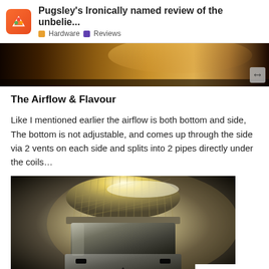Pugsley's Ironically named review of the unbelie... | Hardware | Reviews
[Figure (photo): Close-up strip photo of a vaping device with warm golden lighting]
The Airflow & Flavour
Like I mentioned earlier the airflow is both bottom and side, The bottom is not adjustable, and comes up through the side via 2 vents on each side and splits into 2 pipes directly under the coils…
[Figure (photo): Close-up photograph of a metallic RDA atomizer with knurled top cap, showing airflow vents, warm studio lighting]
1 / 64